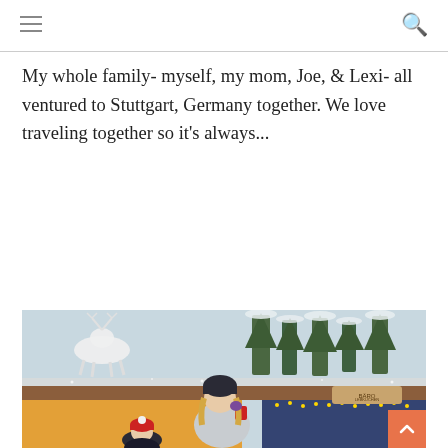Navigation header with hamburger menu and search icon
My whole family- myself, my mom, Joe, & Lexi- all ventured to Stuttgart, Germany together. We love traveling together so it's always...
READ MORE »
[Figure (photo): A woman in a light grey puffer jacket and dark beanie drinking from a red cup at a Christmas market in Stuttgart, Germany. Behind her are illuminated market stalls, Christmas trees, and snow-covered decorations including reindeer figures. A child in a red hat is visible in the foreground.]